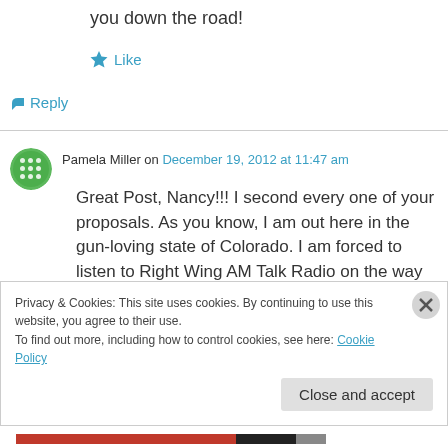you down the road!
★ Like
↪ Reply
Pamela Miller on December 19, 2012 at 11:47 am
Great Post, Nancy!!! I second every one of your proposals. As you know, I am out here in the gun-loving state of Colorado. I am forced to listen to Right Wing AM Talk Radio on the way to
Privacy & Cookies: This site uses cookies. By continuing to use this website, you agree to their use.
To find out more, including how to control cookies, see here: Cookie Policy
Close and accept